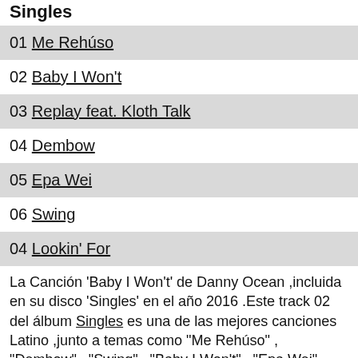Singles
01 Me Rehúso
02 Baby I Won't
03 Replay feat. Kloth Talk
04 Dembow
05 Epa Wei
06 Swing
04 Lookin' For
La Canción 'Baby I Won't' de Danny Ocean ,incluida en su disco 'Singles' en el año 2016 .Este track 02 del álbum Singles es una de las mejores canciones Latino ,junto a temas como "Me Rehúso" , "Dembow" , "Swing" , "Baby I Won't" , "Epa Wei" , "Lookin' For" , del que puedes ver sus letras de música y escuchar sus canciones .Con 23097 Visitas y 1 votos con 10,00 de puntuación. Otros discos del artista titulados -